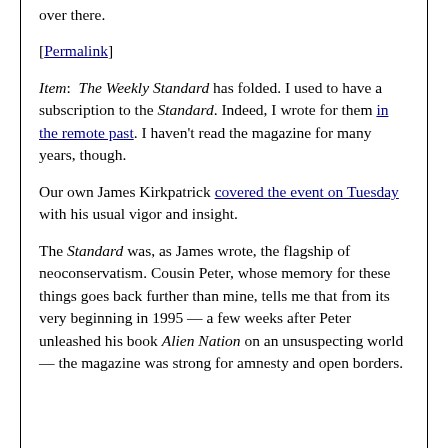over there.
[Permalink]
Item: The Weekly Standard has folded. I used to have a subscription to the Standard. Indeed, I wrote for them in the remote past. I haven't read the magazine for many years, though.
Our own James Kirkpatrick covered the event on Tuesday with his usual vigor and insight.
The Standard was, as James wrote, the flagship of neoconservatism. Cousin Peter, whose memory for these things goes back further than mine, tells me that from its very beginning in 1995 — a few weeks after Peter unleashed his book Alien Nation on an unsuspecting world — the magazine was strong for amnesty and open borders.